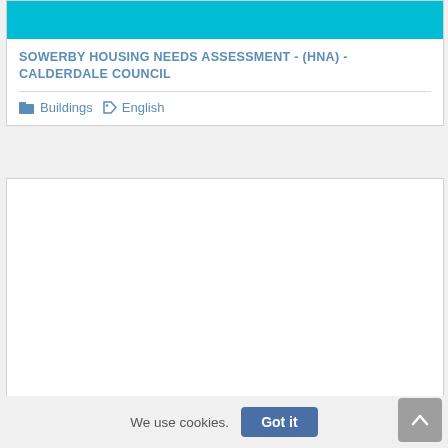[Figure (other): Cyan/teal colored banner image at top of card]
SOWERBY HOUSING NEEDS ASSESSMENT - (HNA) - CALDERDALE COUNCIL
Buildings   English
[Figure (other): Second card with white empty content area]
We use cookies.
Got it